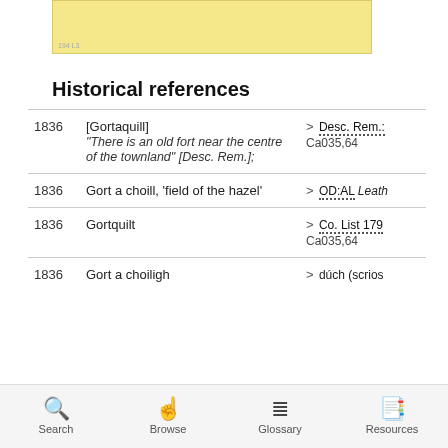[Figure (other): Partial top portion of a yellowed/cream colored image or map, partially visible at top of screen]
Historical references
| Year | Name/Description | Reference |
| --- | --- | --- |
| 1836 | [Gortaquill] "There is an old fort near the centre of the townland" [Desc. Rem.]; | > Desc. Rem.: Ca035,64 |
| 1836 | Gort a choill, 'field of the hazel' | > OD:AL Leath |
| 1836 | Gortquilt | > Co. List 179 Ca035,64 |
| 1836 | Gort a choiligh | > dúch (scrios |
Search  Browse  Glossary  Resources